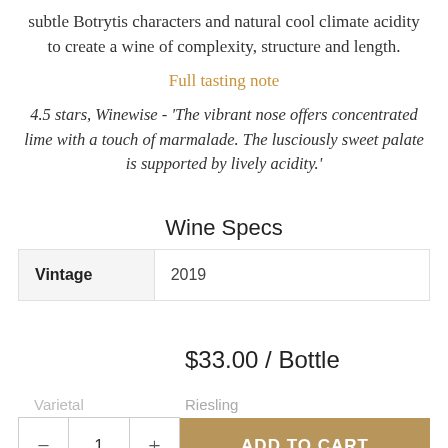subtle Botrytis characters and natural cool climate acidity to create a wine of complexity, structure and length.
Full tasting note
4.5 stars, Winewise - 'The vibrant nose offers concentrated lime with a touch of marmalade. The lusciously sweet palate is supported by lively acidity.'
Wine Specs
|  |  |
| --- | --- |
| Vintage | 2019 |
| Varietal | Riesling |
| pH | 3.13 |
$33.00 / Bottle
ADD TO CART